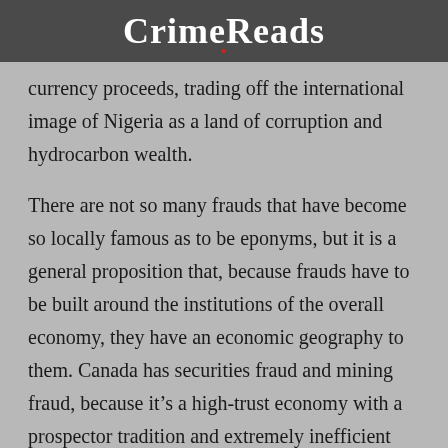CrimeReads
currency proceeds, trading off the international image of Nigeria as a land of corruption and hydrocarbon wealth.
There are not so many frauds that have become so locally famous as to be eponyms, but it is a general proposition that, because frauds have to be built around the institutions of the overall economy, they have an economic geography to them. Canada has securities fraud and mining fraud, because it’s a high-trust economy with a prospector tradition and extremely inefficient and fragmented securities regulation. The last of these is a result of Canada’s